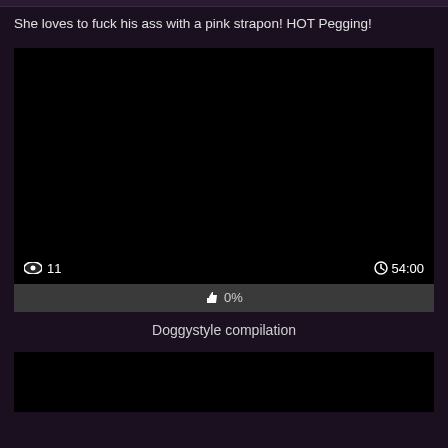She loves to fuck his ass with a pink strapon! HOT Pegging!
[Figure (screenshot): Black video thumbnail with view count 11 and duration 54:00, and a like bar showing 0%]
Doggystyle compilation
[Figure (screenshot): Black video thumbnail at bottom of page]